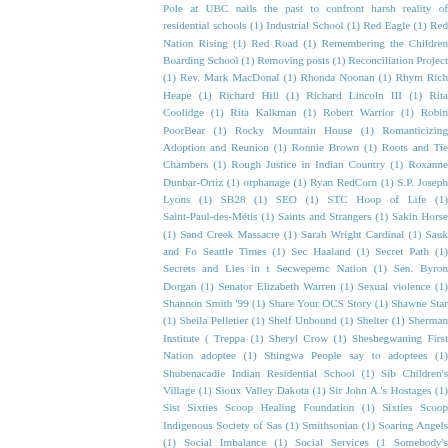Pole at UBC nails the past to confront harsh reality of residential schools (1) Industrial School (1) Red Eagle (1) Red Nation Rising (1) Red Road (1) Remembering the Children Boarding School (1) Removing posts (1) Reconciliation Project (1) Rev. Mark MacDonal (1) Rhonda Noonan (1) Rhym Rich Heape (1) Richard Hill (1) Richard Lincoln III (1) Rita Coolidge (1) Rita Kalkman (1) Robert Warrior (1) Robin PoorBear (1) Rocky Mountain House (1) Romanticizing Adoption and Reunion (1) Ronnie Brown (1) Roots and Tie Chambers (1) Rough Justice in Indian Country (1) Roxanne Dunbar-Ortiz (1) orphanage (1) Ryan RedCorn (1) S.P. Joseph Lyons (1) SB28 (1) SEO (1) STC Hoop of Life (1) Saint-Paul-des-Métis (1) Saints and Strangers (1) Sakin Horse (1) Sand Creek Massacre (1) Sarah Wright Cardinal (1) Sauk and Fo Seattle Times (1) Sec Haaland (1) Secret Path (1) Secrets and Lies in t Secwepemc Nation (1) Sen. Byron Dorgan (1) Senator Elizabeth Warren (1) Sexual violence (1) Shannon Smith '99 (1) Share Your OCS Story (1) Shawne Star (1) Sheila Pelletier (1) Shelf Unbound (1) Shelter (1) Sherman Institute ( Treppa (1) Sheryl Crow (1) Sheshegwaning First Nation adoptee (1) Shingwa People say to adoptees (1) Shubenacadie Indian Residential School (1) Sib Children's Village (1) Sioux Valley Dakota (1) Sir John A.'s Hostages (1) Sist Sixties Scoop Healing Foundation (1) Sixties Scoop Indigenous Society of Sas (1) Smithsonian (1) Soaring Angels (1) Social Imbalance (1) Social Services (1) Somebody's Children (1) Songs My Brothers Taught Me (1) South Carolina Spammers (1) Splatsin (1) Splatsin and Secwépemc (1) Sports (1) Spotted Ta St Paul's Boarding School (1) St. Anthony's Indian Residential School (1) St. (1) St. Boniface Indian Industrial School (1) St. Eugene Golf Resort & Casino School (1) St. Eugene's Mission School (1) St. Joseph's Home for Children